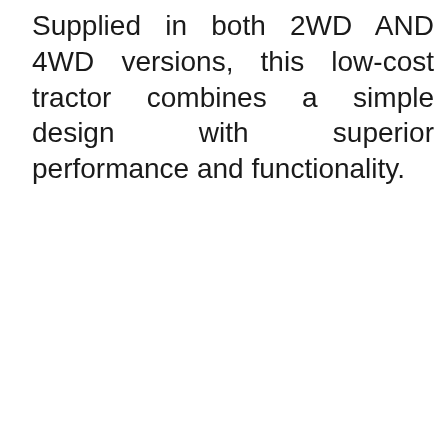Supplied in both 2WD AND 4WD versions, this low-cost tractor combines a simple design with superior performance and functionality.